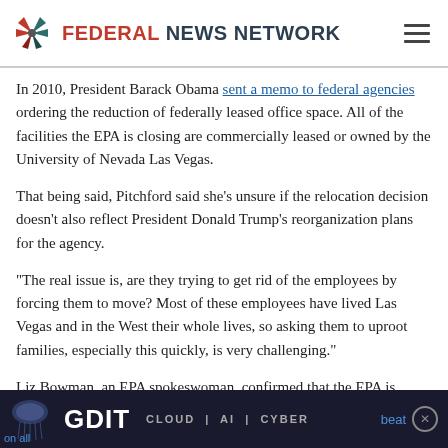Federal News Network
In 2010, President Barack Obama sent a memo to federal agencies ordering the reduction of federally leased office space. All of the facilities the EPA is closing are commercially leased or owned by the University of Nevada Las Vegas.
That being said, Pitchford said she’s unsure if the relocation decision doesn’t also reflect President Donald Trump’s reorganization plans for the agency.
“The real issue is, are they trying to get rid of the employees by forcing them to move? Most of these employees have lived Las Vegas and in the West their whole lives, so asking them to uproot families, especially this quickly, is very challenging.”
Liz Bowman, an EPA spokeswoman, confirmed that the EPA is closing ORD facilities in Las Vegas.
[Figure (other): GDIT advertisement banner with jellyfish image. Text reads: GDIT CLOUD | AI | CYBER. Partial text 'beat' and 'on all' also visible.]